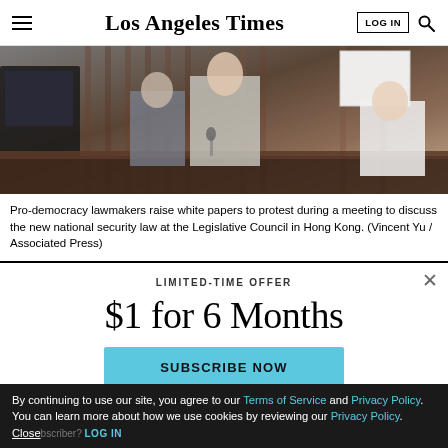Los Angeles Times
[Figure (photo): Pro-democracy lawmakers at the Legislative Council in Hong Kong, one person raising white papers in protest during a meeting about the national security law.]
Pro-democracy lawmakers raise white papers to protest during a meeting to discuss the new national security law at the Legislative Council in Hong Kong. (Vincent Yu / Associated Press)
LIMITED-TIME OFFER
$1 for 6 Months
SUBSCRIBE NOW
By continuing to use our site, you agree to our Terms of Service and Privacy Policy. You can learn more about how we use cookies by reviewing our Privacy Policy. Close Already a subscriber? LOG IN